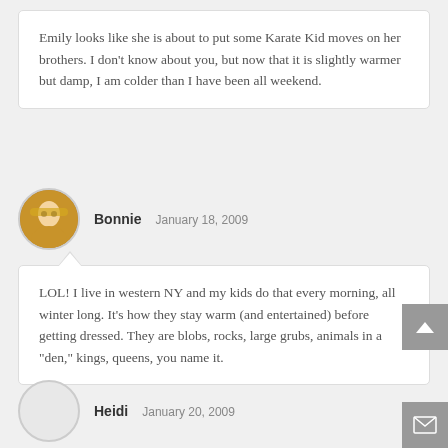Emily looks like she is about to put some Karate Kid moves on her brothers. I don’t know about you, but now that it is slightly warmer but damp, I am colder than I have been all weekend.
Bonnie  January 18, 2009
LOL! I live in western NY and my kids do that every morning, all winter long. It’s how they stay warm (and entertained) before getting dressed. They are blobs, rocks, large grubs, animals in a “den,” kings, queens, you name it.
Heidi  January 20, 2009